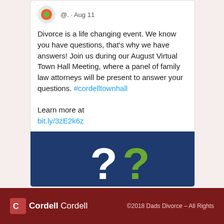@. · Aug 11
Divorce is a life changing event. We know you have questions, that's why we have answers! Join us during our August Virtual Town Hall Meeting, where a panel of family law attorneys will be present to answer your questions. #cordelltownhall

Learn more at bit.ly/3zE2k6z
[Figure (illustration): Dark blue banner with white and green question mark symbols]
©2018 Dads Divorce - All Rights